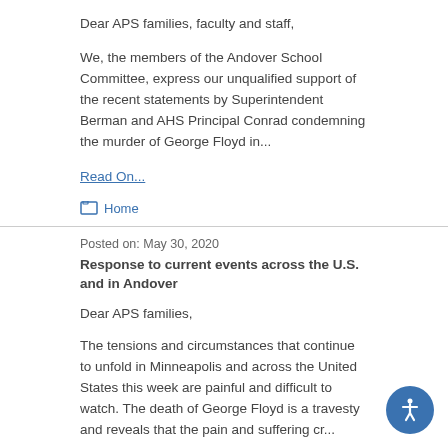Dear APS families, faculty and staff,
We, the members of the Andover School Committee, express our unqualified support of the recent statements by Superintendent Berman and AHS Principal Conrad condemning the murder of George Floyd in...
Read On...
Home
Posted on: May 30, 2020
Response to current events across the U.S. and in Andover
Dear APS families,
The tensions and circumstances that continue to unfold in Minneapolis and across the United States this week are painful and difficult to watch. The death of George Floyd is a travesty and reveals that the pain and suffering cr...
Read On...